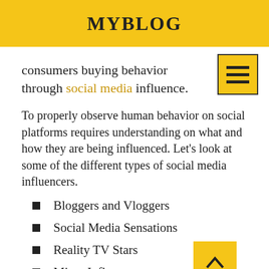MYBLOG
consumers buying behavior through social media influence.
To properly observe human behavior on social platforms requires understanding on what and how they are being influenced. Let's look at some of the different types of social media influencers.
Bloggers and Vloggers
Social Media Sensations
Reality TV Stars
Micro Influencers